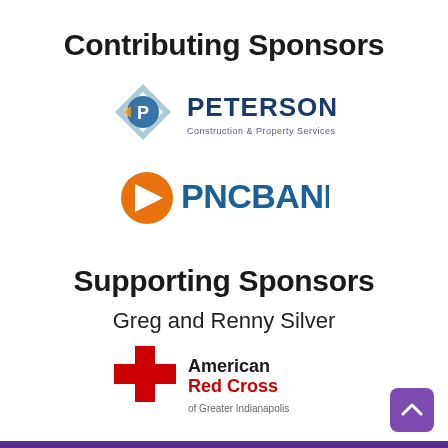Contributing Sponsors
[Figure (logo): Peterson Construction & Property Services logo with diamond P icon in blue/gray]
[Figure (logo): PNC Bank logo with orange triangle icon and blue PNCBANK text]
Supporting Sponsors
Greg and Renny Silver
[Figure (logo): American Red Cross of Greater Indianapolis logo with red cross icon]